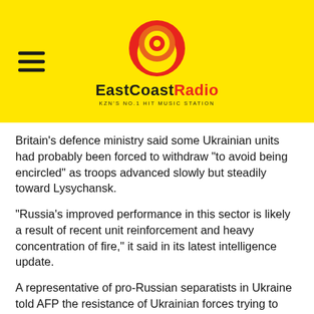EastCoastRadio — KZN'S NO.1 HIT MUSIC STATION
Britain's defence ministry said some Ukrainian units had probably been forced to withdraw "to avoid being encircled" as troops advanced slowly but steadily toward Lysychansk.
"Russia's improved performance in this sector is likely a result of recent unit reinforcement and heavy concentration of fire," it said in its latest intelligence update.
A representative of pro-Russian separatists in Ukraine told AFP the resistance of Ukrainian forces trying to defend Lysychansk and Severodonetsk was "pointless and futile."
"At the rate our soldiers are going, very soon the whole territory of the Lugansk People's Republic will be liberated," said Andrei Marochko, a spokesman for the army of Lugansk.